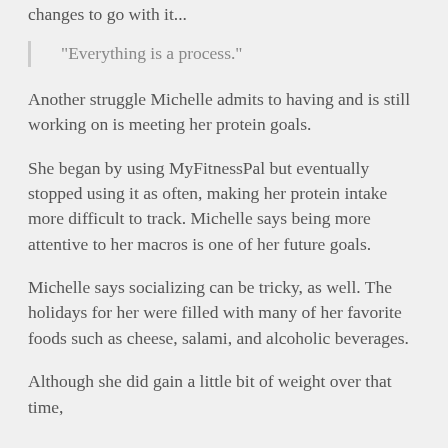changes to go with it...
“Everything is a process.”
Another struggle Michelle admits to having and is still working on is meeting her protein goals.
She began by using MyFitnessPal but eventually stopped using it as often, making her protein intake more difficult to track. Michelle says being more attentive to her macros is one of her future goals.
Michelle says socializing can be tricky, as well. The holidays for her were filled with many of her favorite foods such as cheese, salami, and alcoholic beverages.
Although she did gain a little bit of weight over that time,